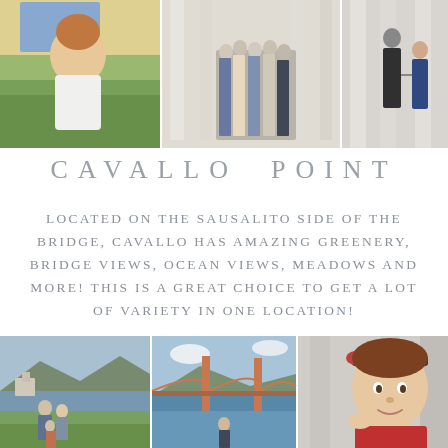[Figure (photo): Collage of three family portrait photos at top: left shows a red-haired toddler smiling on green grass, center shows a large family group posed between classical columns, right shows a father and young daughter running along columns]
CAVALLO POINT
LOCATED ON THE SAUSALITO SIDE OF THE BRIDGE, CAVALLO HAS AMAZING GREENERY, BRIDGE VIEWS, OCEAN VIEWS, MEADOWS AND MORE! THIS IS A GREAT CHOICE TO GET A LOT OF VARIETY IN ONE LOCATION!
[Figure (photo): Collage of three photos at bottom: left shows a family in a meadow with bay and buildings in background, center shows the Golden Gate Bridge with ocean and hills, right shows a close-up of a toddler girl with headband wearing red]